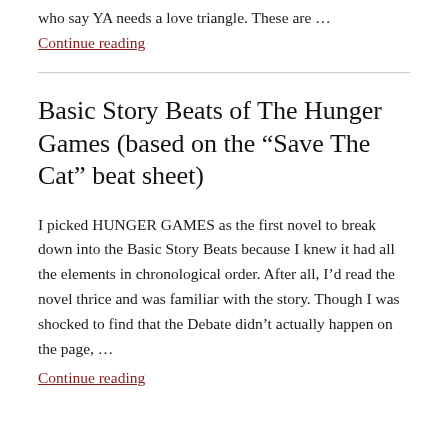who say YA needs a love triangle. These are …
Continue reading
Basic Story Beats of The Hunger Games (based on the “Save The Cat” beat sheet)
I picked HUNGER GAMES as the first novel to break down into the Basic Story Beats because I knew it had all the elements in chronological order. After all, I’d read the novel thrice and was familiar with the story. Though I was shocked to find that the Debate didn’t actually happen on the page, …
Continue reading